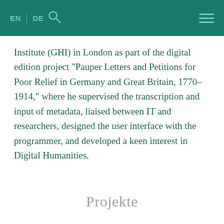EN | DE [search icon] [menu icon]
Institute (GHI) in London as part of the digital edition project “Pauper Letters and Petitions for Poor Relief in Germany and Great Britain, 1770–1914,” where he supervised the transcription and input of metadata, liaised between IT and researchers, designed the user interface with the programmer, and developed a keen interest in Digital Humanities.
Projekte